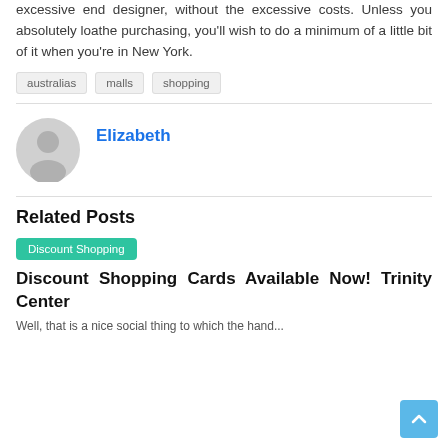excessive end designer, without the excessive costs. Unless you absolutely loathe purchasing, you'll wish to do a minimum of a little bit of it when you're in New York.
australias
malls
shopping
Elizabeth
Related Posts
Discount Shopping
Discount Shopping Cards Available Now! Trinity Center
Well, that was a nice social thing to which the hand...